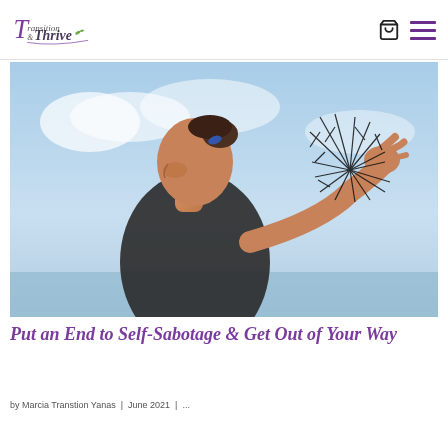Transition & Thrive [logo with cart and menu icons]
[Figure (photo): Woman in black strapless top photographed from the side against a sky background, holding up a cracked/shattered glass piece toward the camera with her extended arm.]
Put an End to Self-Sabotage & Get Out of Your Way
by Marcia Transtion Yanas | June 2021 | ...